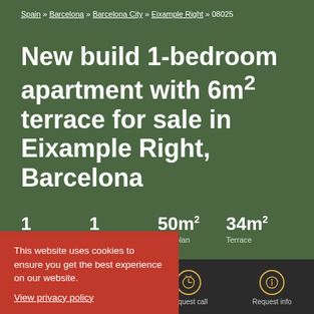Spain » Barcelona » Barcelona City » Eixample Right » 08025
New build 1-bedroom apartment with 6m² terrace for sale in Eixample Right, Barcelona
1   1   50m²  34m²
         Floorplan  Terrace
This website uses cookies to ensure you get the best experience on our website. View privacy policy
Call us   WhatsApp   Request call   Request info